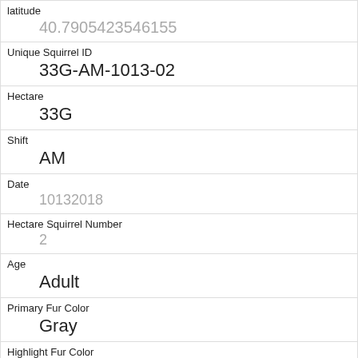| Field | Value |
| --- | --- |
| latitude | 40.7905423546155 |
| Unique Squirrel ID | 33G-AM-1013-02 |
| Hectare | 33G |
| Shift | AM |
| Date | 10132018 |
| Hectare Squirrel Number | 2 |
| Age | Adult |
| Primary Fur Color | Gray |
| Highlight Fur Color |  |
| Combination of Primary and Highlight Color | Gray+ |
| Color notes |  |